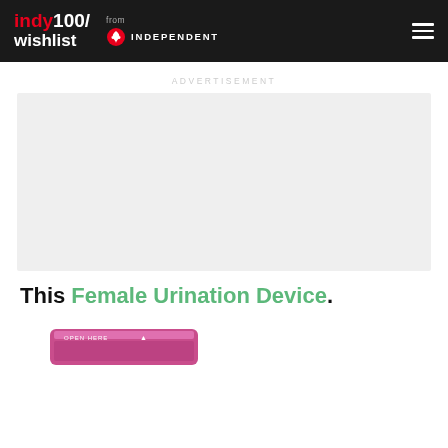indy100/ wishlist from INDEPENDENT
ADVERTISEMENT
[Figure (other): Grey advertisement placeholder box]
This Female Urination Device.
[Figure (photo): Product image of a pink/purple Female Urination Device packaging, partially visible at bottom of page]